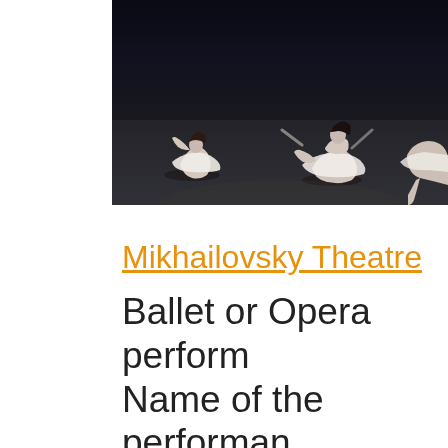[Figure (photo): Ballet dancers on stage at Mikhailovsky Theatre — dark background with dancers in white tutus in the foreground]
Mikhailovsky Theatre
Ballet or Opera performance. Name of the performance to be announced later - available in March 2022
Please leave a request for schedule for this date t